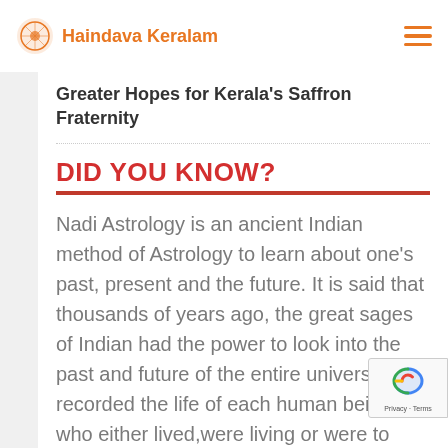Haindava Keralam
Greater Hopes for Kerala's Saffron Fraternity
DID YOU KNOW?
Nadi Astrology is an ancient Indian method of Astrology to learn about one's past, present and the future. It is said that thousands of years ago, the great sages of Indian had the power to look into the past and future of the entire universe and recorded the life of each human being who either lived,were living or were to live. At some point of time